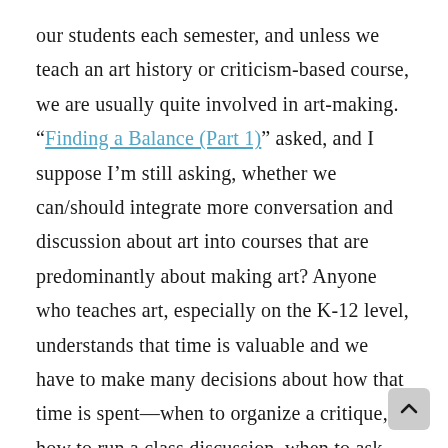our students each semester, and unless we teach an art history or criticism-based course, we are usually quite involved in art-making. “Finding a Balance (Part 1)” asked, and I suppose I’m still asking, whether we can/should integrate more conversation and discussion about art into courses that are predominantly about making art? Anyone who teaches art, especially on the K-12 level, understands that time is valuable and we have to make many decisions about how that time is spent—when to organize a critique, how to run a class discussion, when to ask students to reflect on their work in writing, etc. While it’s often easier to allow students ample time to make a variety of art, are we up for the challenge of breaking down some of the misunderstandings students (and we ourselves) have about contemporary art in order to create more meaningful work?